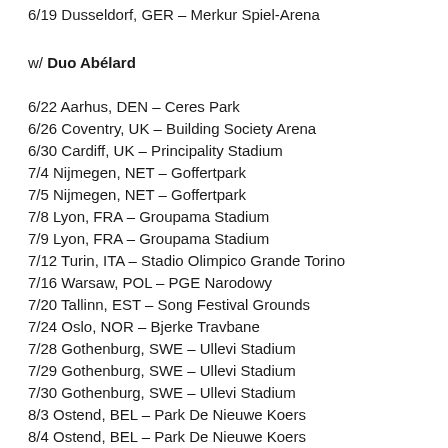6/19 Dusseldorf, GER – Merkur Spiel-Arena
w/ Duo Abélard
6/22 Aarhus, DEN – Ceres Park
6/26 Coventry, UK – Building Society Arena
6/30 Cardiff, UK – Principality Stadium
7/4 Nijmegen, NET – Goffertpark
7/5 Nijmegen, NET – Goffertpark
7/8 Lyon, FRA – Groupama Stadium
7/9 Lyon, FRA – Groupama Stadium
7/12 Turin, ITA – Stadio Olimpico Grande Torino
7/16 Warsaw, POL – PGE Narodowy
7/20 Tallinn, EST – Song Festival Grounds
7/24 Oslo, NOR – Bjerke Travbane
7/28 Gothenburg, SWE – Ullevi Stadium
7/29 Gothenburg, SWE – Ullevi Stadium
7/30 Gothenburg, SWE – Ullevi Stadium
8/3 Ostend, BEL – Park De Nieuwe Koers
8/4 Ostend, BEL – Park De Nieuwe Koers